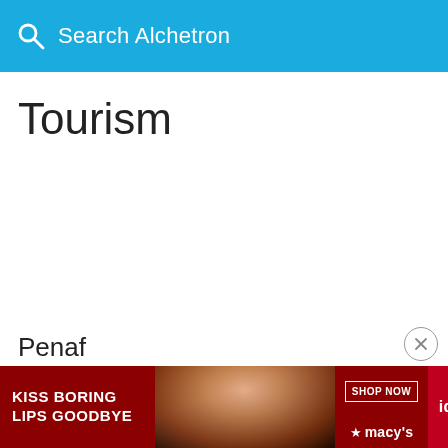Search Alchetron
Tourism
Penaf
[Figure (screenshot): Advertisement banner: Macy's ad with 'KISS BORING LIPS GOODBYE' text on dark red background, model photo, SHOP NOW button with star macys logo, and covid-19 tab on right edge]